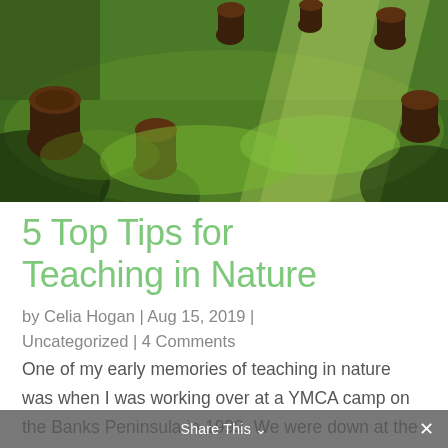[Figure (photo): Outdoor scene with tree stumps and green grass on a sunny day, likely a nature camp setting]
5 Top Tips for Teaching in Nature
by Celia Hogan | Aug 15, 2019 | Uncategorized | 4 Comments
One of my early memories of teaching in nature was when I was working over at a YMCA camp on the Banks Peninsula in 1999. We were down at the beach and I was meant to be running an activity called coasteering. But the children were having so much fun making...
Share This ∨  ✕